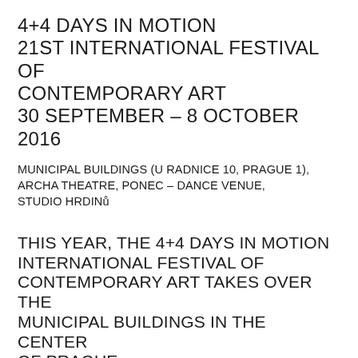4+4 DAYS IN MOTION
21ST INTERNATIONAL FESTIVAL OF CONTEMPORARY ART
30 SEPTEMBER – 8 OCTOBER 2016
MUNICIPAL BUILDINGS (U RADNICE 10, PRAGUE 1),
ARCHA THEATRE, PONEC – DANCE VENUE,
STUDIO HRDINŮ
THIS YEAR, THE 4+4 DAYS IN MOTION INTERNATIONAL FESTIVAL OF CONTEMPORARY ART TAKES OVER THE MUNICIPAL BUILDINGS IN THE CENTER OF PRAGUE
This year's 21st edition of the 4+4 Days in Motion International Festival of Contemporary Art presents...